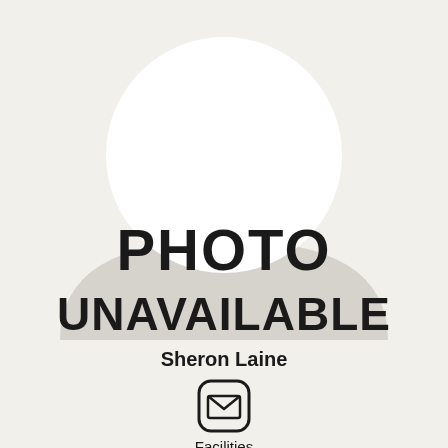[Figure (illustration): Generic person silhouette placeholder image with head (circle) and body (rounded rectangle/arch shape) in light gray, with text PHOTO UNAVAILABLE overlaid in bold black]
Sheron Laine
[Figure (illustration): Email/envelope icon inside a rounded square border]
Facilities